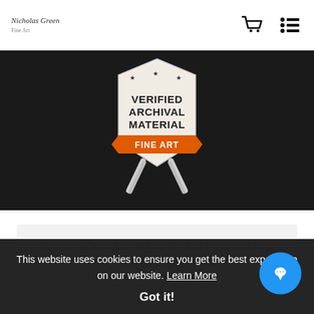Nicholas Green Fine Art — nav bar with cart and menu icons
[Figure (illustration): Verified Archival Material Fine Art badge/seal on dark background. Shield shape with stars at top, orange ribbon banner reading FINE ART, text VERIFIED ARCHIVAL MATERIAL in bold dark letters, decorative crossed ribbons below.]
Become a member and be the first to receive new content and special promotions.
This website uses cookies to ensure you get the best experience on our website. Learn More
Got it!